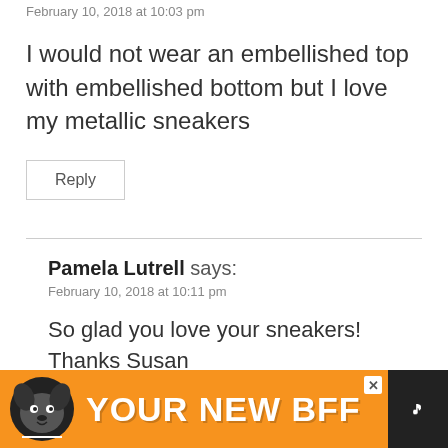February 10, 2018 at 10:03 pm
I would not wear an embellished top with embellished bottom but I love my metallic sneakers
Reply
Pamela Lutrell says:
February 10, 2018 at 10:11 pm
So glad you love your sneakers! Thanks Susan
Reply
[Figure (infographic): Advertisement banner with orange background, dog image, text YOUR NEW BFF, and a dark sidebar with logo]